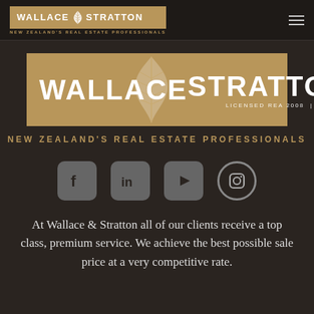WALLACE STRATTON — NEW ZEALAND'S REAL ESTATE PROFESSIONALS
[Figure (logo): Wallace & Stratton logo — large gold banner with white bold text WALLACE STRATTON, fern leaf motif, and text LICENSED REA 2008 | MREINZ]
NEW ZEALAND'S REAL ESTATE PROFESSIONALS
[Figure (infographic): Four social media icons: Facebook, LinkedIn, YouTube, Instagram]
At Wallace & Stratton all of our clients receive a top class, premium service. We achieve the best possible sale price at a very competitive rate.